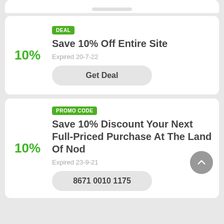[Figure (screenshot): Partial top card showing a rounded tab/handle]
DEAL
Save 10% Off Entire Site
10%
Expired 20-7-22
Get Deal
PROMO CODE
Save 10% Discount Your Next Full-Priced Purchase At The Land Of Nod
10%
Expired 23-9-21
8671 0010 1175